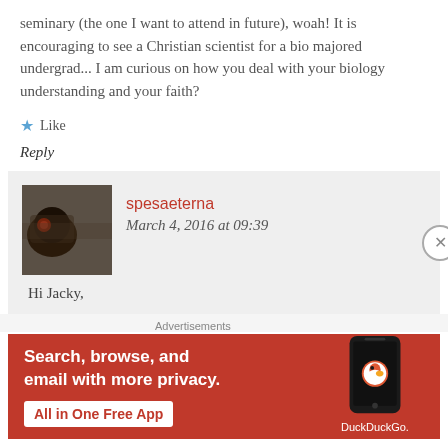seminary (the one I want to attend in future), woah! It is encouraging to see a Christian scientist for a bio majored undergrad... I am curious on how you deal with your biology understanding and your faith?
★ Like
Reply
spesaeterna
March 4, 2016 at 09:39
Hi Jacky,
Advertisements
[Figure (screenshot): DuckDuckGo advertisement banner with orange/red background showing text 'Search, browse, and email with more privacy. All in One Free App' with DuckDuckGo logo and phone image on right side.]